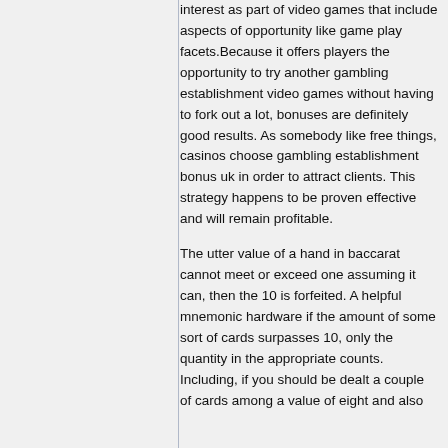interest as part of video games that include aspects of opportunity like game play facets.Because it offers players the opportunity to try another gambling establishment video games without having to fork out a lot, bonuses are definitely good results. As somebody like free things, casinos choose gambling establishment bonus uk in order to attract clients. This strategy happens to be proven effective and will remain profitable.
The utter value of a hand in baccarat cannot meet or exceed one assuming it can, then the 10 is forfeited. A helpful mnemonic hardware if the amount of some sort of cards surpasses 10, only the quantity in the appropriate counts. Including, if you should be dealt a couple of cards among a value of eight and also